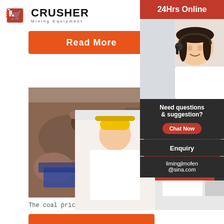[Figure (logo): Crusher Mining Equipment logo with red shopping cart icon and bold CRUSHER text]
[Figure (photo): Orange Read More button (partially visible at top)]
[Figure (photo): Construction/mining site photo showing rocks and machinery]
Prices
[Figure (photo): Live Chat overlay with workers in yellow hard hats, woman smiling, LIVE CHAT text in red italic, Chat now and Chat later buttons]
[Figure (photo): Right sidebar with 24Hrs Online red bar, female customer service agent with headset, need questions & suggestion section, Chat Now button, Enquiry link, limingjlmofen@sina.com email]
The coal price spread between Europe and Asia
[Figure (photo): Orange Read More button at bottom]